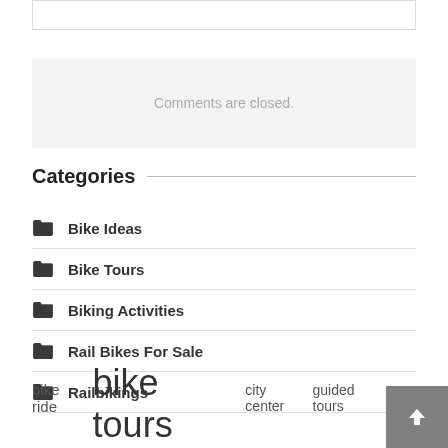Comments are closed.
Categories
Bike Ideas
Bike Tours
Biking Activities
Rail Bikes For Sale
Railbikings
bike ride  bike tours  city center  guided tours